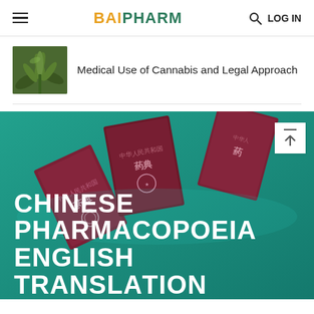BAIPHARM — LOG IN
[Figure (photo): Small thumbnail photo of cannabis/marijuana plant with green leaves]
Medical Use of Cannabis and Legal Approach
[Figure (photo): Banner image showing Chinese Pharmacopoeia books arranged on a teal background with text overlay: CHINESE PHARMACOPOEIA ENGLISH TRANSLATION]